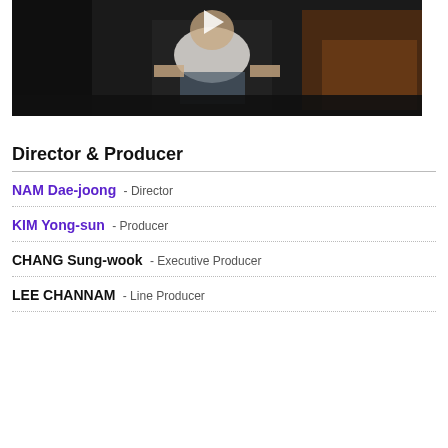[Figure (screenshot): Video thumbnail showing a man seated on a brown leather sofa/armchair in a dark room. A white play button triangle is visible at the top center of the video frame.]
Director & Producer
NAM Dae-joong  - Director
KIM Yong-sun  - Producer
CHANG Sung-wook  - Executive Producer
LEE CHANNAM  - Line Producer